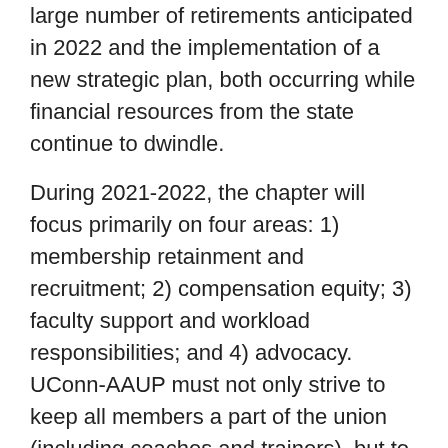large number of retirements anticipated in 2022 and the implementation of a new strategic plan, both occurring while financial resources from the state continue to dwindle.
During 2021-2022, the chapter will focus primarily on four areas: 1) membership retainment and recruitment; 2) compensation equity; 3) faculty support and workload responsibilities; and 4) advocacy. UConn-AAUP must not only strive to keep all members a part of the union (including coaches and trainers), but to expand the membership to be able to maintain the level of service and representation our members need and deserve. As new hires are